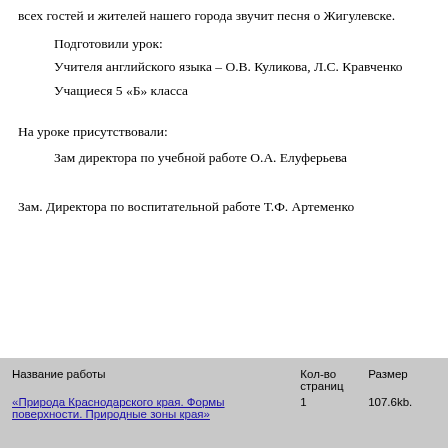всех гостей и жителей нашего города звучит песня о Жигулевске.
Подготовили урок:
Учителя английского языка – О.В. Куликова, Л.С. Кравченко
Учащиеся 5 «Б» класса
На уроке присутствовали:
Зам директора по учебной работе О.А. Елуферьева
Зам. Директора по воспитательной работе Т.Ф. Артеменко
| Название работы | Кол-во страниц | Размер |
| --- | --- | --- |
| «Природа Краснодарского края. Формы поверхности. Природные зоны края» | 1 | 107.6kb. |